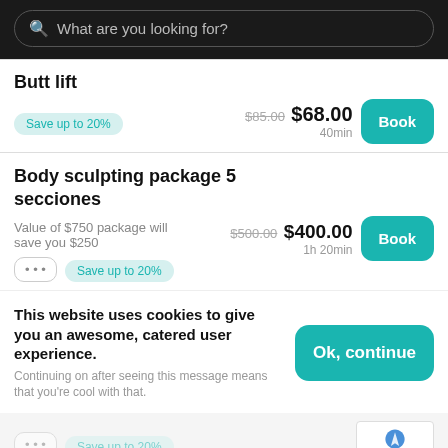[Figure (screenshot): Search bar with magnifying glass icon and placeholder text 'What are you looking for?' on dark background]
Butt lift
Save up to 20%
$85.00  $68.00  40min
Body sculpting package 5 secciones
Value of $750 package will save you $250
$500.00  $400.00  1h 20min
Save up to 20%
This website uses cookies to give you an awesome, catered user experience.
Continuing on after seeing this message means that you're cool with that.
Ok, continue
Save up to 20%
Privacy · Terms
Tooth whitening